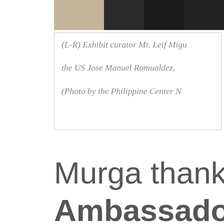[Figure (photo): Partial photo at top of page showing a person in dark clothing against a light background, cropped at the bottom.]
(L-R) Exhibit curator Mr. Leif Migu the US Jose Manuel Romualdez, (Photo by the Philippine Center N
Murga thanked
Ambassado R